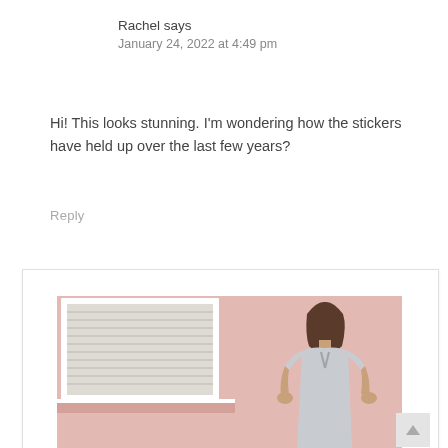Rachel says
January 24, 2022 at 4:49 pm
Hi! This looks stunning. I'm wondering how the stickers have held up over the last few years?
Reply
[Figure (photo): A woman in a light grey off-shoulder dress standing against a pink wall with a white-framed window to her left.]